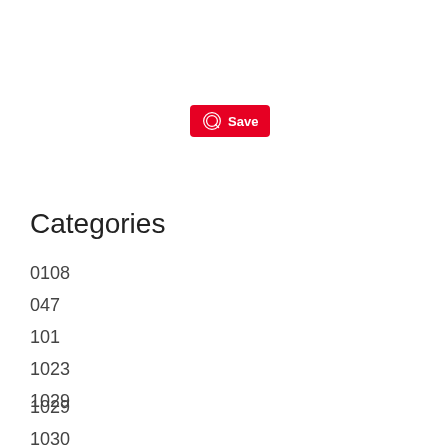[Figure (logo): Pinterest Save button with Pinterest logo icon on red background]
Categories
0108
047
101
1023
1029
1030
1127
114